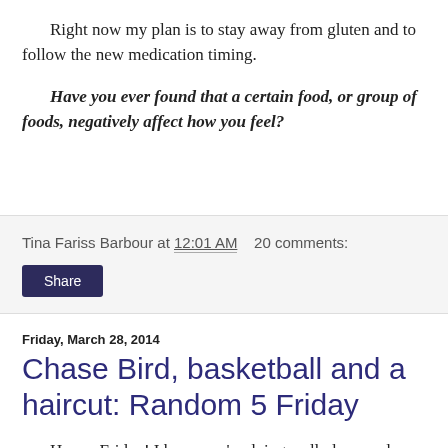Right now my plan is to stay away from gluten and to follow the new medication timing.
Have you ever found that a certain food, or group of foods, negatively affect how you feel?
Tina Fariss Barbour at 12:01 AM   20 comments:
Share
Friday, March 28, 2014
Chase Bird, basketball and a haircut: Random 5 Friday
Happy Friday! I hope you're doing well, dear readers, on this last Friday in March. Is it just me, or